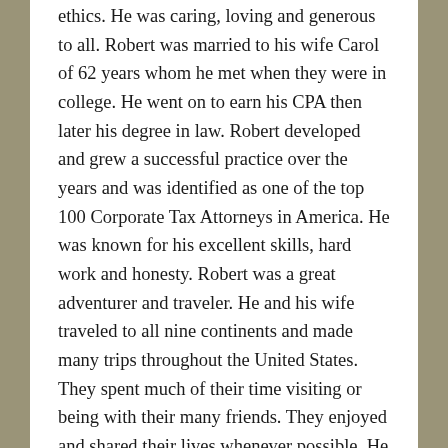ethics. He was caring, loving and generous to all. Robert was married to his wife Carol of 62 years whom he met when they were in college. He went on to earn his CPA then later his degree in law. Robert developed and grew a successful practice over the years and was identified as one of the top 100 Corporate Tax Attorneys in America. He was known for his excellent skills, hard work and honesty. Robert was a great adventurer and traveler. He and his wife traveled to all nine continents and made many trips throughout the United States. They spent much of their time visiting or being with their many friends. They enjoyed and shared their lives whenever possible. He enjoyed swimming, hiking, and tennis and was an avid Phoenix Suns fan. He is survived by his loving wife, his children Maureen, Kevin, Shawna, Patrick and Peggy, his twenty grandchildren and two great-grandchildren who he so enjoyed during the holidays, birthdays and special events. He is now in heaven with his sons Terry and Daniel who preceded him some years